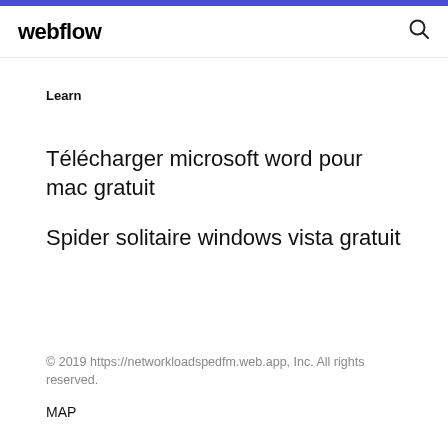webflow
Learn
Télécharger microsoft word pour mac gratuit
Spider solitaire windows vista gratuit
© 2019 https://networkloadspedfm.web.app, Inc. All rights reserved.
MAP